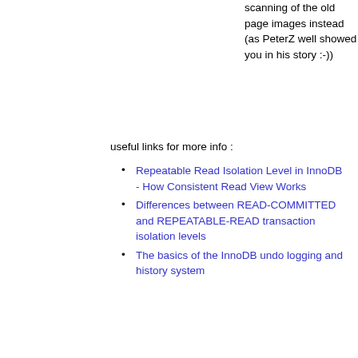scanning of the old page images instead (as PeterZ well showed you in his story :-))
useful links for more info :
Repeatable Read Isolation Level in InnoDB - How Consistent Read View Works
Differences between READ-COMMITTED and REPEATABLE-READ transaction isolation levels
The basics of the InnoDB undo logging and history system